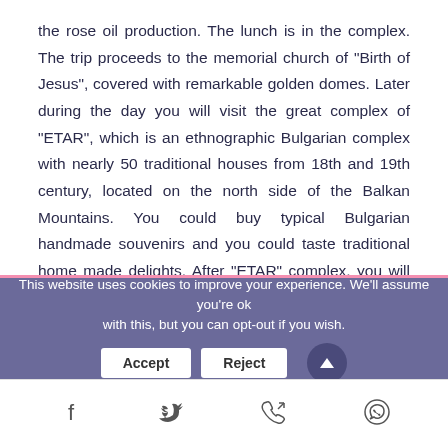the rose oil production. The lunch is in the complex. The trip proceeds to the memorial church of "Birth of Jesus", covered with remarkable golden domes. Later during the day you will visit the great complex of "ETAR", which is an ethnographic Bulgarian complex with nearly 50 traditional houses from 18th and 19th century, located on the north side of the Balkan Mountains. You could buy typical Bulgarian handmade souvenirs and you could taste traditional home made delights. After "ETAR" complex, you will visit one of the greatest national sights in Bulgaria, the Monument of Freedom. It is build as a memorial for the liberation of the country from the Ottoman domination. Its height is 31m and it is located 1200m above the sea level. Then you will depart back to Sofia. The total duration
This website uses cookies to improve your experience. We'll assume you're ok with this, but you can opt-out if you wish.
Social media icons: Facebook, Twitter, Phone, WhatsApp